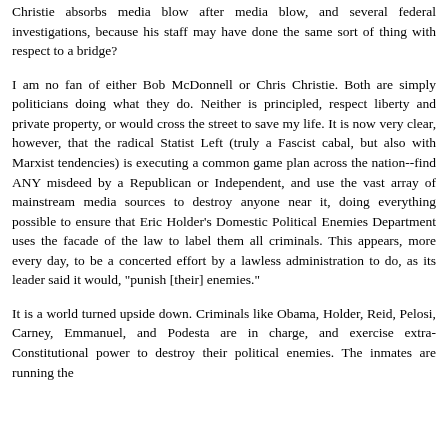Christie absorbs media blow after media blow, and several federal investigations, because his staff may have done the same sort of thing with respect to a bridge?
I am no fan of either Bob McDonnell or Chris Christie. Both are simply politicians doing what they do. Neither is principled, respect liberty and private property, or would cross the street to save my life. It is now very clear, however, that the radical Statist Left (truly a Fascist cabal, but also with Marxist tendencies) is executing a common game plan across the nation--find ANY misdeed by a Republican or Independent, and use the vast array of mainstream media sources to destroy anyone near it, doing everything possible to ensure that Eric Holder's Domestic Political Enemies Department uses the facade of the law to label them all criminals. This appears, more every day, to be a concerted effort by a lawless administration to do, as its leader said it would, "punish [their] enemies."
It is a world turned upside down. Criminals like Obama, Holder, Reid, Pelosi, Carney, Emmanuel, and Podesta are in charge, and exercise extra-Constitutional power to destroy their political enemies. The inmates are running the